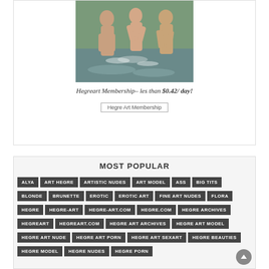[Figure (photo): Three nude figures splashing in water outdoor setting]
Hegreart Membership– les than $0.42/ day!
Hegre Art Membership
MOST POPULAR
ALYA
ART HEGRE
ARTISTIC NUDES
ART MODEL
ASS
BIG TITS
BLONDE
BRUNETTE
EROTIC
EROTIC ART
FINE ART NUDES
FLORA
HEGRE
HEGRE-ART
HEGRE-ART.COM
HEGRE.COM
HEGRE ARCHIVES
HEGREART
HEGREART.COM
HEGRE ART ARCHIVES
HEGRE ART MODEL
HEGRE ART NUDE
HEGRE ART PORN
HEGRE ART SEXART
HEGRE BEAUTIES
HEGRE MODEL
HEGRE NUDES
HEGRE PORN